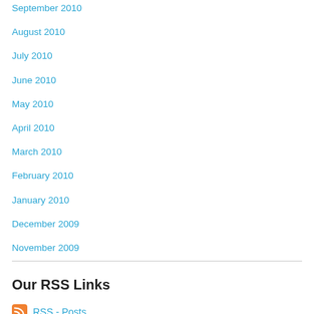September 2010
August 2010
July 2010
June 2010
May 2010
April 2010
March 2010
February 2010
January 2010
December 2009
November 2009
Our RSS Links
RSS - Posts
RSS - Comments